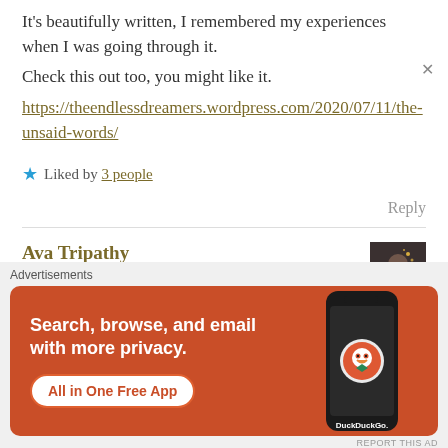It's beautifully written, I remembered my experiences when I was going through it.
Check this out too, you might like it.
https://theendlessdreamers.wordpress.com/2020/07/11/the-unsaid-words/
★ Liked by 3 people
Reply
Ava Tripathy
13th Jul 2020 at 3:06 am
[Figure (screenshot): DuckDuckGo advertisement banner with orange background showing 'Search, browse, and email with more privacy. All in One Free App' text with a phone graphic and DuckDuckGo logo]
Advertisements